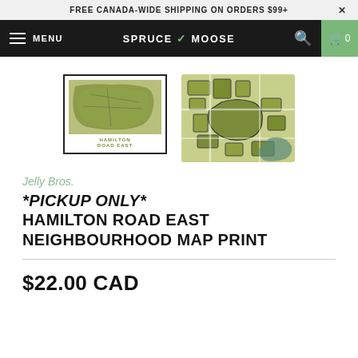FREE CANADA-WIDE SHIPPING ON ORDERS $99+
SPRUCE V MOOSE
[Figure (screenshot): Thumbnail of Hamilton Road East neighbourhood map print showing a framed print with a green map and text 'HAMILTON ROAD EAST' below]
[Figure (map): Detail view of Hamilton Road East neighbourhood map showing street layout in olive green tones]
Jelly Bros.
*PICKUP ONLY* HAMILTON ROAD EAST NEIGHBOURHOOD MAP PRINT
$22.00 CAD